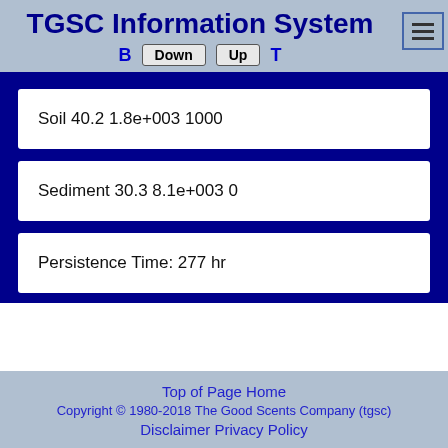TGSC Information System
B  Down  Up  T
Soil 40.2 1.8e+003 1000
Sediment 30.3 8.1e+003 0
Persistence Time: 277 hr
Top of Page Home
Copyright © 1980-2018 The Good Scents Company (tgsc)
Disclaimer Privacy Policy